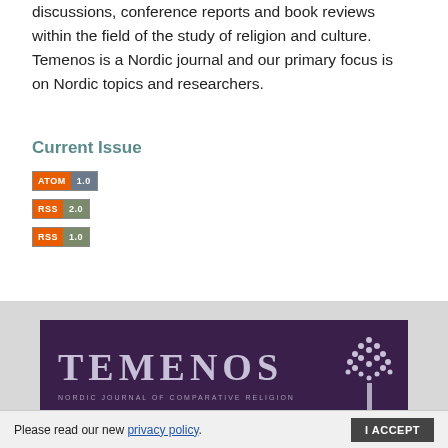discussions, conference reports and book reviews within the field of the study of religion and culture. Temenos is a Nordic journal and our primary focus is on Nordic topics and researchers.
Current Issue
[Figure (other): ATOM 1.0 feed badge button]
[Figure (other): RSS 2.0 feed badge button]
[Figure (other): RSS 1.0 feed badge button]
[Figure (logo): Temenos - Nordic Journal of Comparative Religion banner logo with tree illustration on dark purple background]
Please read our new privacy policy.
I ACCEPT